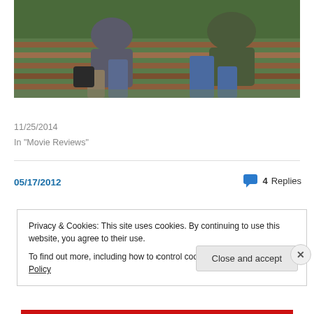[Figure (photo): Two people sitting on a wooden bench outdoors, one in a gray jacket and the other in a green jacket with jeans, green foliage in background]
REVIEW: Inherent Vice
11/25/2014
In "Movie Reviews"
05/17/2012
4 Replies
Privacy & Cookies: This site uses cookies. By continuing to use this website, you agree to their use.
To find out more, including how to control cookies, see here: Cookie Policy
Close and accept